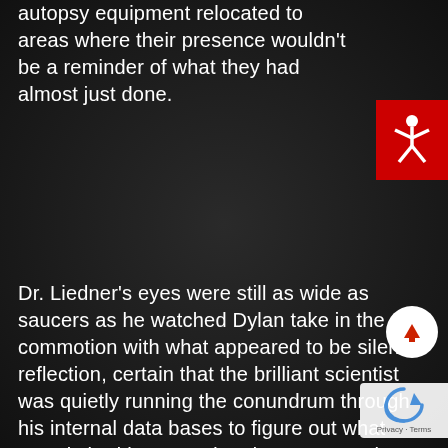autopsy equipment relocated to areas where their presence wouldn't be a reminder of what they had almost just done.
Dr. Liedner's eyes were still as wide as saucers as he watched Dylan take in the commotion with what appeared to be silent reflection, certain that the brilliant scientist was quietly running the conundrum through his internal data bases to figure out what exactly had happened and very aware that the man was most likely the only one in the world that could. Unfortunately for Dyson, however, Dr. Liedner's assessment couldn't have been